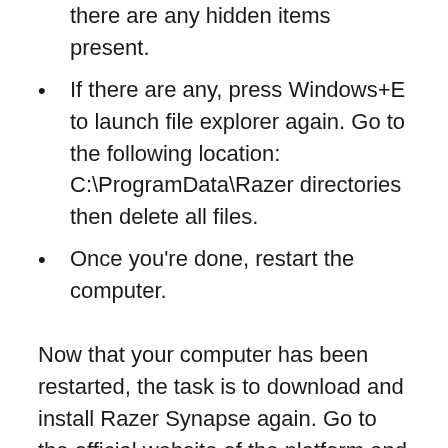there are any hidden items present.
If there are any, press Windows+E to launch file explorer again. Go to the following location: C:\ProgramData\Razer directories then delete all files.
Once you're done, restart the computer.
Now that your computer has been restarted, the task is to download and install Razer Synapse again. Go to the official website of the platform and do the obvious.
Solution #4: Reinstall The...